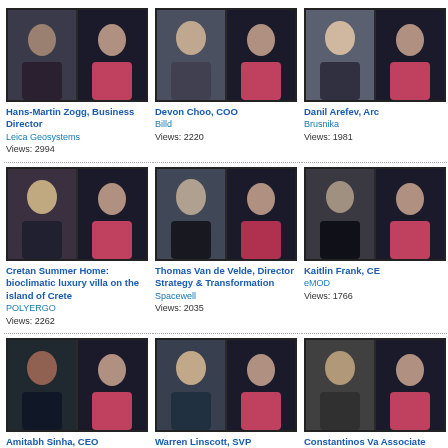[Figure (photo): Video thumbnail showing two people in a split-screen video call]
Hans-Martin Zogg, Business Director
Leica Geosystems
Views: 2994
[Figure (photo): Video thumbnail showing two people in a split-screen video call]
Devon Choo, COO
Billd
Views: 2220
[Figure (photo): Video thumbnail showing two people in a split-screen video call]
Danil Arefev, Arc
Brusnika
Views: 1981
[Figure (photo): Video thumbnail showing two people in a split-screen video call]
Cretan Summer Home: bioclimatic luxury villa on the island of Crete
POLYERGO
Views: 2262
[Figure (photo): Video thumbnail showing two people in a split-screen video call]
Thomas Van de Velde, Director Strategy & Transformation
Spacewell
Views: 2035
[Figure (photo): Video thumbnail showing two people in a split-screen video call]
Kaitlin Frank, CE
eMOD
Views: 1766
[Figure (photo): Video thumbnail showing two people in a split-screen video call]
Amitabh Sinha, CEO
WorkSpot
Views: 1016
[Figure (photo): Video thumbnail showing two people in a split-screen video call]
Warren Linscott, SVP
Deltek
Views: 2495
[Figure (photo): Video thumbnail showing two people in a split-screen video call]
Constantinos Va
Associate Archi
Vassiliades Archi
Views: 958